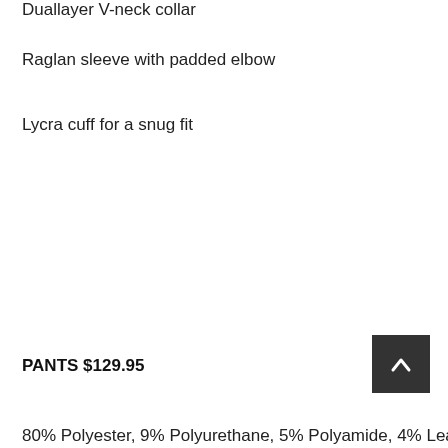Duallayer V-neck collar
Raglan sleeve with padded elbow
Lycra cuff for a snug fit
PANTS $129.95
80% Polyester, 9% Polyurethane, 5% Polyamide, 4% Leather